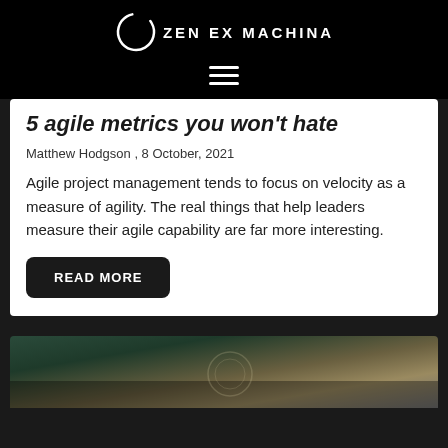[Figure (logo): Zen Ex Machina logo with circular brushstroke icon and text]
5 agile metrics you won't hate
Matthew Hodgson , 8 October, 2021
Agile project management tends to focus on velocity as a measure of agility. The real things that help leaders measure their agile capability are far more interesting.
READ MORE
[Figure (photo): Close-up blurred photo of a watch/clock face]